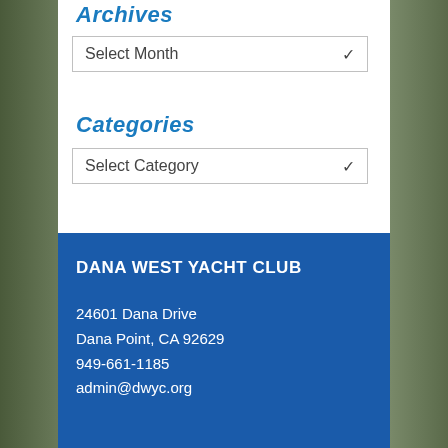Archives
Select Month
Categories
Select Category
DANA WEST YACHT CLUB
24601 Dana Drive
Dana Point, CA 92629
949-661-1185
admin@dwyc.org